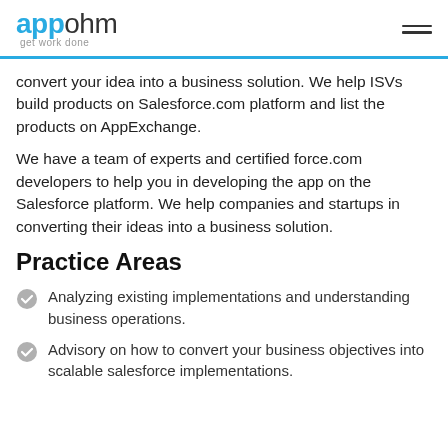appohm get work done
convert your idea into a business solution. We help ISVs build products on Salesforce.com platform and list the products on AppExchange.
We have a team of experts and certified force.com developers to help you in developing the app on the Salesforce platform. We help companies and startups in converting their ideas into a business solution.
Practice Areas
Analyzing existing implementations and understanding business operations.
Advisory on how to convert your business objectives into scalable salesforce implementations.